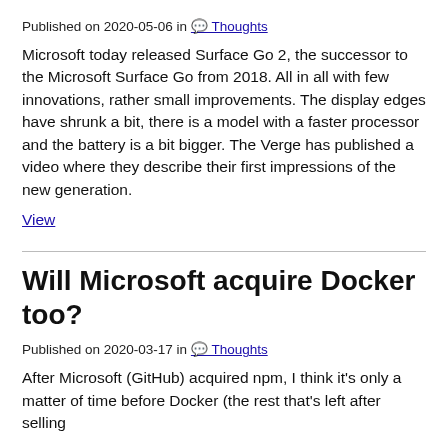Published on 2020-05-06 in 💬 Thoughts
Microsoft today released Surface Go 2, the successor to the Microsoft Surface Go from 2018. All in all with few innovations, rather small improvements. The display edges have shrunk a bit, there is a model with a faster processor and the battery is a bit bigger. The Verge has published a video where they describe their first impressions of the new generation.
View
Will Microsoft acquire Docker too?
Published on 2020-03-17 in 💬 Thoughts
After Microsoft (GitHub) acquired npm, I think it's only a matter of time before Docker (the rest that's left after selling